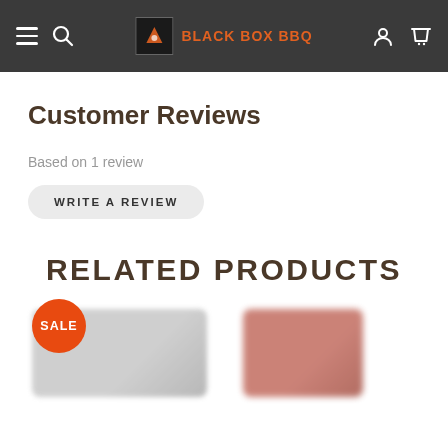BLACK BOX BBQ
Customer Reviews
Based on 1 review
WRITE A REVIEW
RELATED PRODUCTS
SALE